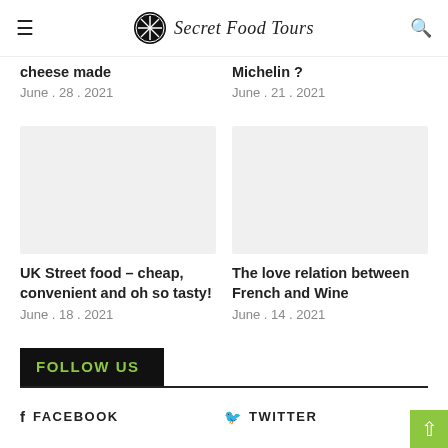Secret Food Tours
cheese made
June . 28 . 2021
Michelin ?
June . 21 . 2021
[Figure (photo): Placeholder image for UK Street food article]
[Figure (photo): Placeholder image for French and Wine article]
UK Street food – cheap, convenient and oh so tasty!
June . 18 . 2021
The love relation between French and Wine
June . 14 . 2021
FOLLOW US
FACEBOOK
TWITTER